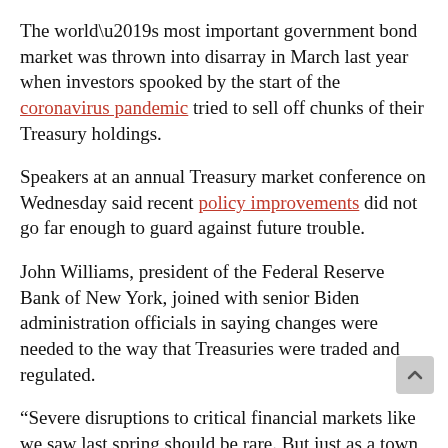The world's most important government bond market was thrown into disarray in March last year when investors spooked by the start of the coronavirus pandemic tried to sell off chunks of their Treasury holdings.
Speakers at an annual Treasury market conference on Wednesday said recent policy improvements did not go far enough to guard against future trouble.
John Williams, president of the Federal Reserve Bank of New York, joined with senior Biden administration officials in saying changes were needed to the way that Treasuries were traded and regulated.
“Severe disruptions to critical financial markets like we saw last spring should be rare. But just as a town ravaged by flooding will seek to rebuild in ways that help it withstand the next big storm, so, too, must we think about how to shore up the Treasury market so it can better endure the next big shock,” Williams told the conference hosted by the New York Fed.
The US Federal Reserve has already taken steps to help shore up the Treasury market at times of stress.